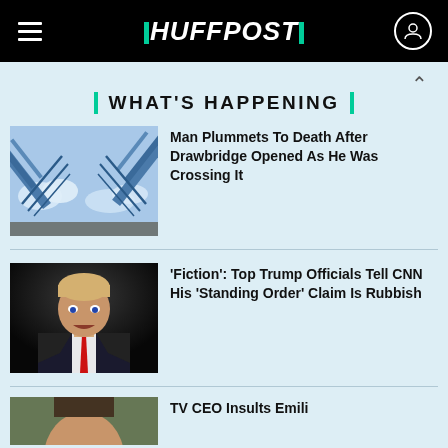HUFFPOST
WHAT'S HAPPENING
[Figure (photo): Drawbridge opened at an angle with steel girders against a cloudy sky]
Man Plummets To Death After Drawbridge Opened As He Was Crossing It
[Figure (photo): Donald Trump speaking, dark background, red tie]
'Fiction': Top Trump Officials Tell CNN His 'Standing Order' Claim Is Rubbish
[Figure (photo): Partial image of person, cropped at bottom of page]
TV CEO Insults Emili...